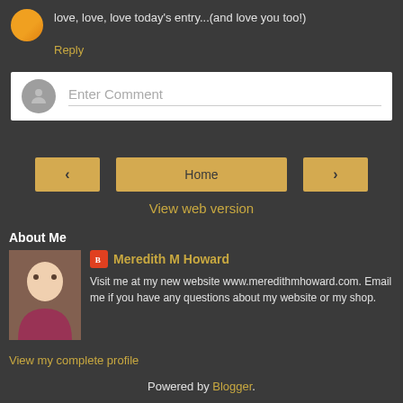love, love, love today's entry...(and love you too!)
Reply
Enter Comment
< Home >
View web version
About Me
Meredith M Howard
Visit me at my new website www.meredithmhoward.com. Email me if you have any questions about my website or my shop.
View my complete profile
Powered by Blogger.